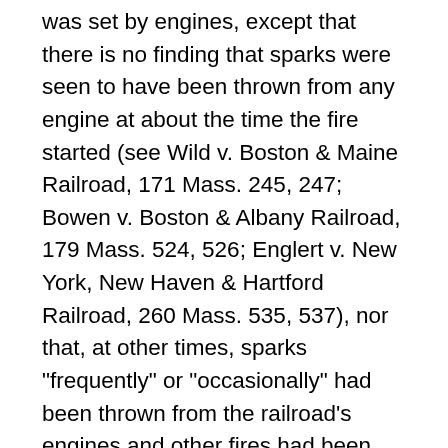was set by engines, except that there is no finding that sparks were seen to have been thrown from any engine at about the time the fire started (see Wild v. Boston & Maine Railroad, 171 Mass. 245, 247; Bowen v. Boston & Albany Railroad, 179 Mass. 524, 526; Englert v. New York, New Haven & Hartford Railroad, 260 Mass. 535, 537), nor that, at other times, sparks "frequently" or "occasionally" had been thrown from the railroad's engines and other fires had been caused thereby. See McGinn v. Platt, 177 Mass. 125, 127; Highland Foundry Co. v. New York, New Haven & Hartford Railroad, supra; Hammond v. New York, New Haven & Hartford Railroad, 211 Mass. 549, 551; Englert v. New York, New Haven & Hartford Railroad, supra. This omission from the subsidiary findings, however, was not necessarily fatal to recovery by the plaintiffs for it does